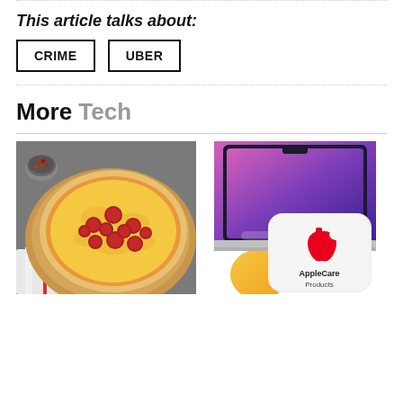This article talks about:
CRIME
UBER
More Tech
[Figure (photo): A pepperoni pizza on a wooden board with a small bowl of red pepper flakes on grey background]
[Figure (photo): MacBook showing macOS Monterey desktop with AppleCare Products logo overlay]